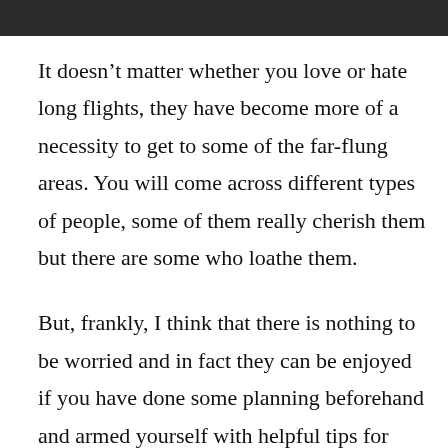[Figure (photo): Dark image strip at the top of the page, appears to be a cropped photo header]
It doesn't matter whether you love or hate long flights, they have become more of a necessity to get to some of the far-flung areas. You will come across different types of people, some of them really cherish them but there are some who loathe them.
But, frankly, I think that there is nothing to be worried and in fact they can be enjoyed if you have done some planning beforehand and armed yourself with helpful tips for surviving